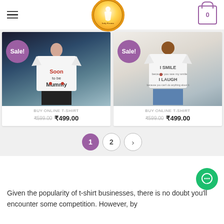Navigation header with hamburger menu, logo (100% Genuine Quality), and cart icon showing 0
[Figure (photo): Left product card: Woman wearing white t-shirt with 'Soon to be Mummy' text, Sale badge, priced ₹599.00 crossed out, ₹499.00]
[Figure (photo): Right product card: Woman wearing white t-shirt with 'I SMILE / I LAUGH' text, Sale badge, priced ₹599.00 crossed out, ₹499.00]
BUY ONLINE T-SHIRT ₹599.00 ₹499.00
BUY ONLINE T-SHIRT ₹599.00 ₹499.00
Pagination: 1 2 >
Given the popularity of t-shirt businesses, there is no doubt you'll encounter some competition. However, by